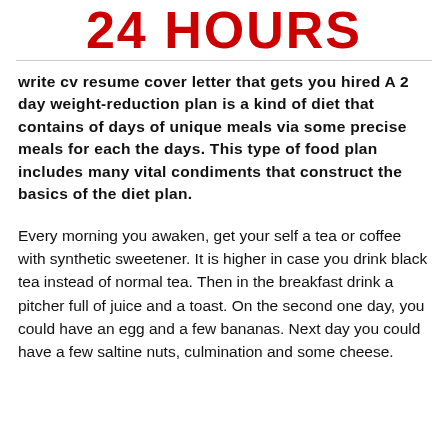24 HOURS
write cv resume cover letter that gets you hired A 2 day weight-reduction plan is a kind of diet that contains of days of unique meals via some precise meals for each the days. This type of food plan includes many vital condiments that construct the basics of the diet plan.
Every morning you awaken, get your self a tea or coffee with synthetic sweetener. It is higher in case you drink black tea instead of normal tea. Then in the breakfast drink a pitcher full of juice and a toast. On the second one day, you could have an egg and a few bananas. Next day you could have a few saltine nuts, culmination and some cheese.